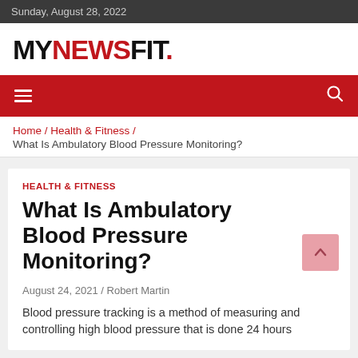Sunday, August 28, 2022
MYNEWSFIT.
Navigation bar with hamburger menu and search icon
Home / Health & Fitness / What Is Ambulatory Blood Pressure Monitoring?
HEALTH & FITNESS
What Is Ambulatory Blood Pressure Monitoring?
August 24, 2021 / Robert Martin
Blood pressure tracking is a method of measuring and controlling high blood pressure that is done 24 hours